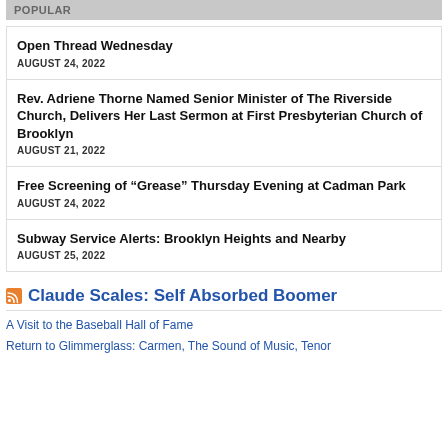POPULAR
Open Thread Wednesday
AUGUST 24, 2022
Rev. Adriene Thorne Named Senior Minister of The Riverside Church, Delivers Her Last Sermon at First Presbyterian Church of Brooklyn
AUGUST 21, 2022
Free Screening of “Grease” Thursday Evening at Cadman Park
AUGUST 24, 2022
Subway Service Alerts: Brooklyn Heights and Nearby
AUGUST 25, 2022
Claude Scales: Self Absorbed Boomer
A Visit to the Baseball Hall of Fame
Return to Glimmerglass: Carmen, The Sound of Music, Tenor